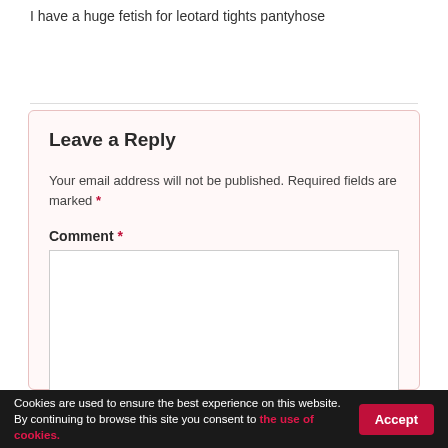I have a huge fetish for leotard tights pantyhose
Leave a Reply
Your email address will not be published. Required fields are marked *
Comment *
Cookies are used to ensure the best experience on this website. By continuing to browse this site you consent to the use of cookies.